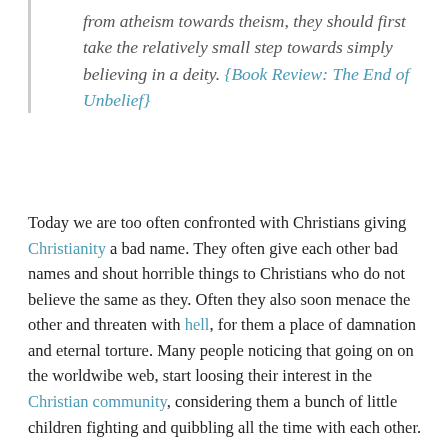from atheism towards theism, they should first take the relatively small step towards simply believing in a deity. {Book Review: The End of Unbelief}
Today we are too often confronted with Christians giving Christianity a bad name. They often give each other bad names and shout horrible things to Christians who do not believe the same as they. Often they also soon menace the other and threaten with hell, for them a place of damnation and eternal torture. Many people noticing that going on on the worldwibe web, start loosing their interest in the Christian community, considering them a bunch of little children fighting and quibbling all the time with each other.